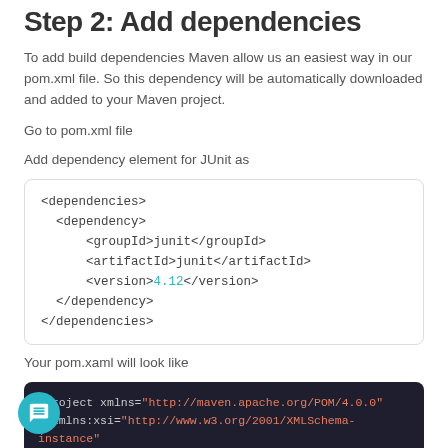Step 2: Add dependencies
To add build dependencies Maven allow us an easiest way in our pom.xml file. So this dependency will be automatically downloaded and added to your Maven project.
Go to pom.xml file
Add dependency element for JUnit as
[Figure (screenshot): Code block showing XML dependencies snippet with <dependencies>, <dependency>, <groupId>junit</groupId>, <artifactId>junit</artifactId>, <version>4.12</version>, </dependency>, </dependencies>]
Your pom.xaml will look like
[Figure (screenshot): Code block showing project XML opening tag with xmlns and xmlns:xsi and xsi:schemaLocation attributes with URL values in orange/red color]